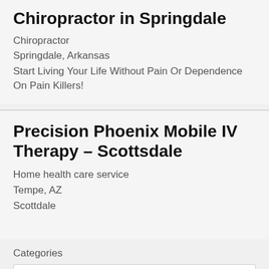Chiropractor in Springdale
Chiropractor
Springdale, Arkansas
Start Living Your Life Without Pain Or Dependence On Pain Killers!
Precision Phoenix Mobile IV Therapy – Scottsdale
Home health care service
Tempe, AZ
Scottdale
Categories
Select Category